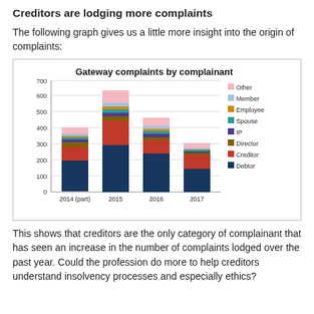Creditors are lodging more complaints
The following graph gives us a little more insight into the origin of complaints:
[Figure (stacked-bar-chart): Gateway complaints by complainant]
This shows that creditors are the only category of complainant that has seen an increase in the number of complaints lodged over the past year.  Could the profession do more to help creditors understand insolvency processes and especially ethics?